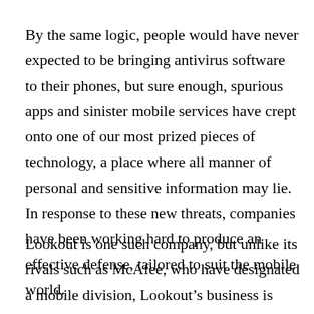By the same logic, people would have never expected to be bringing antivirus software to their phones, but sure enough, spurious apps and sinister mobile services have crept onto one of our most prized pieces of technology, a place where all manner of personal and sensitive information may lie. In response to these new threats, companies have been working hard to produce an effective defense, tailored to suit the mobile world.
Lookout is one such company, but unlike its rivals such as McAfee, who have designated a mobile division, Lookout’s business is 100% mobile